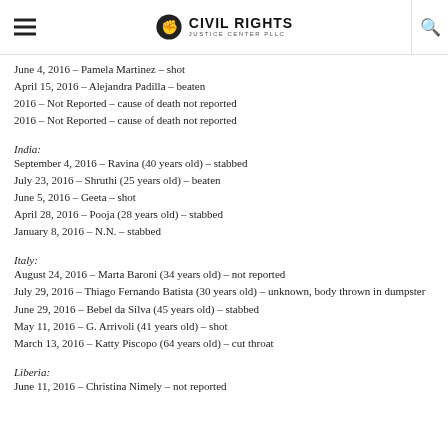Civil Rights Justice Center PLLC
June 4, 2016 – Pamela Martinez – shot
April 15, 2016 – Alejandra Padilla – beaten
2016 – Not Reported – cause of death not reported
2016 – Not Reported – cause of death not reported
India:
September 4, 2016 – Ravina (40 years old) – stabbed
July 23, 2016 – Shruthi (25 years old) – beaten
June 5, 2016 – Geeta – shot
April 28, 2016 – Pooja (28 years old) – stabbed
January 8, 2016 – N.N. – stabbed
Italy:
August 24, 2016 – Marta Baroni (34 years old) – not reported
July 29, 2016 – Thiago Fernando Batista (30 years old) – unknown, body thrown in dumpster
June 29, 2016 – Bebel da Silva (45 years old) – stabbed
May 11, 2016 – G. Arrivoli (41 years old) – shot
March 13, 2016 – Katty Piscopo (64 years old) – cut throat
Liberia:
June 11, 2016 – Christina Nimely – not reported